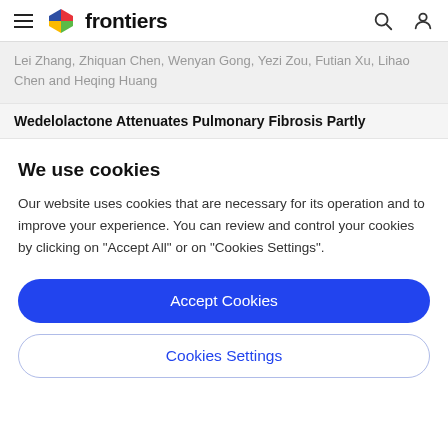frontiers
Lei Zhang, Zhiquan Chen, Wenyan Gong, Yezi Zou, Futian Xu, Lihao Chen and Heqing Huang
Wedelolactone Attenuates Pulmonary Fibrosis Partly
We use cookies
Our website uses cookies that are necessary for its operation and to improve your experience. You can review and control your cookies by clicking on "Accept All" or on "Cookies Settings".
Accept Cookies
Cookies Settings